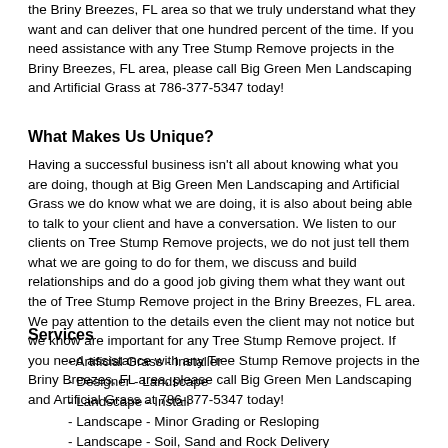the Briny Breezes, FL area so that we truly understand what they want and can deliver that one hundred percent of the time. If you need assistance with any Tree Stump Remove projects in the Briny Breezes, FL area, please call Big Green Men Landscaping and Artificial Grass at 786-377-5347 today!
What Makes Us Unique?
Having a successful business isn't all about knowing what you are doing, though at Big Green Men Landscaping and Artificial Grass we do know what we are doing, it is also about being able to talk to your client and have a conversation. We listen to our clients on Tree Stump Remove projects, we do not just tell them what we are going to do for them, we discuss and build relationships and do a good job giving them what they want out the of Tree Stump Remove project in the Briny Breezes, FL area. We pay attention to the details even the client may not notice but we know are important for any Tree Stump Remove project. If you need assistance with any Tree Stump Remove projects in the Briny Breezes, FL area, please call Big Green Men Landscaping and Artificial Grass at 786-377-5347 today!
Services
- Artificial Grass - Installer
- Designer - Landscape
- Landscape - Install
- Landscape - Minor Grading or Resloping
- Landscape - Soil, Sand and Rock Delivery
- Landscape Consultation